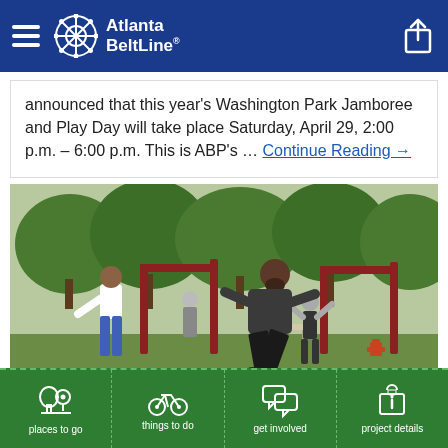Atlanta BeltLine
announced that this year's Washington Park Jamboree and Play Day will take place Saturday, April 29, 2:00 p.m. – 6:00 p.m. This is ABP's … Continue Reading →
[Figure (photo): People exercising outdoors in a park with fitness equipment, trees in background]
[Figure (infographic): Bottom navigation bar with four icons: places to go, things to do, get involved, project details on green background]